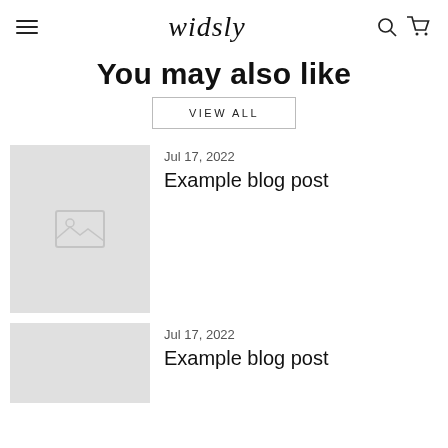widsly
You may also like
VIEW ALL
Jul 17, 2022
[Figure (photo): Placeholder image thumbnail with landscape icon]
Example blog post
Jul 17, 2022
[Figure (photo): Placeholder image thumbnail, partially visible]
Example blog post